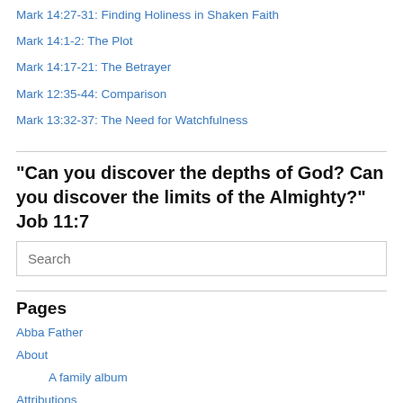Mark 14:27-31: Finding Holiness in Shaken Faith
Mark 14:1-2: The Plot
Mark 14:17-21: The Betrayer
Mark 12:35-44: Comparison
Mark 13:32-37: The Need for Watchfulness
“Can you discover the depths of God? Can you discover the limits of the Almighty?” Job 11:7
Search
Pages
Abba Father
About
A family album
Attributions